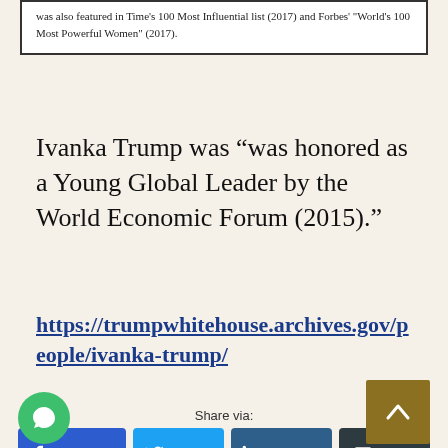was also featured in Time's 100 Most Influential list (2017) and Forbes' "World's 100 Most Powerful Women" (2017).
Ivanka Trump was “was honored as a Young Global Leader by the World Economic Forum (2015).”
https://trumpwhitehouse.archives.gov/people/ivanka-trump/
Share via:
Facebook
Twitter
LinkedIn
Email
Copy Link
More